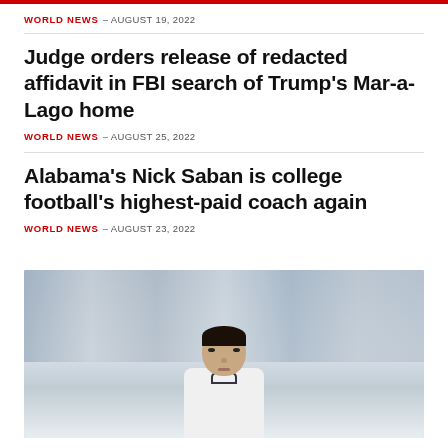WORLD NEWS – AUGUST 19, 2022
Judge orders release of redacted affidavit in FBI search of Trump's Mar-a-Lago home
WORLD NEWS – AUGUST 25, 2022
Alabama's Nick Saban is college football's highest-paid coach again
WORLD NEWS – AUGUST 23, 2022
[Figure (photo): Soccer player in white jersey with crowd blurred in background]